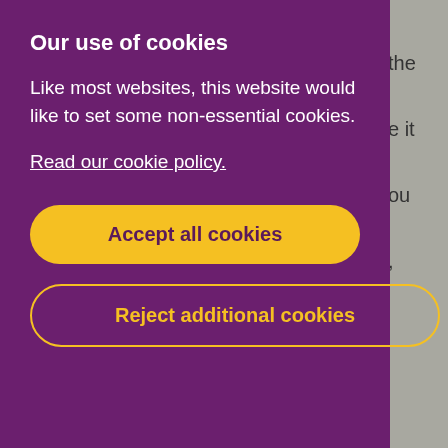Our use of cookies
Like most websites, this website would like to set some non-essential cookies.
Read our cookie policy.
Accept all cookies
Reject additional cookies